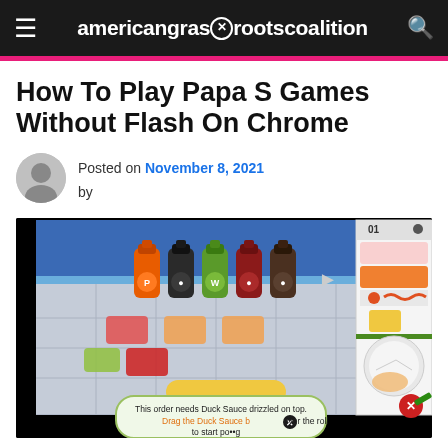americangrassrootscoalition
How To Play Papa S Games Without Flash On Chrome
Posted on November 8, 2021 by
[Figure (screenshot): Screenshot of a Papa's games cooking game showing sauce bottles and a game UI with text: 'This order needs Duck Sauce drizzled on top. Drag the Duck Sauce bottle over the roll to start pouring.']